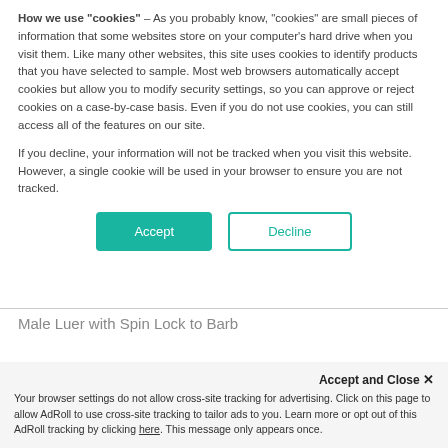How we use "cookies" – As you probably know, "cookies" are small pieces of information that some websites store on your computer's hard drive when you visit them. Like many other websites, this site uses cookies to identify products that you have selected to sample. Most web browsers automatically accept cookies but allow you to modify security settings, so you can approve or reject cookies on a case-by-case basis. Even if you do not use cookies, you can still access all of the features on our site.
If you decline, your information will not be tracked when you visit this website. However, a single cookie will be used in your browser to ensure you are not tracked.
Accept | Decline
Male Luer with Spin Lock to Barb
Accept and Close ✕
Your browser settings do not allow cross-site tracking for advertising. Click on this page to allow AdRoll to use cross-site tracking to tailor ads to you. Learn more or opt out of this AdRoll tracking by clicking here. This message only appears once.